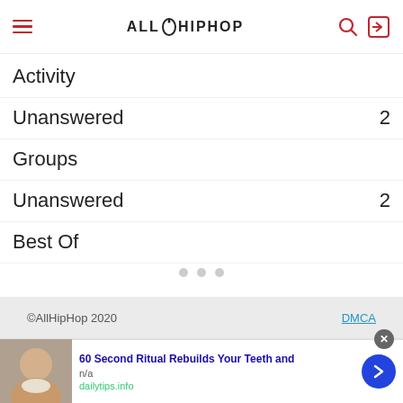AllHipHop
Activity
Unanswered  2
Groups
Unanswered  2
Best Of
©AllHipHop 2020    DMCA
60 Second Ritual Rebuilds Your Teeth and
n/a
dailytips.info